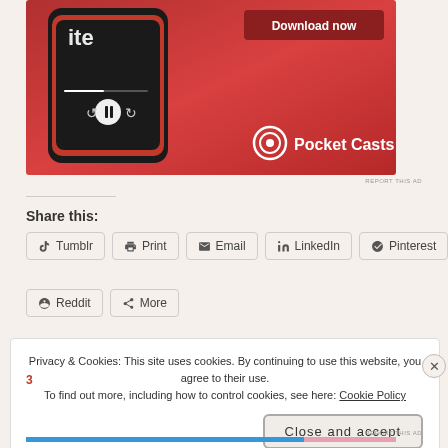[Figure (screenshot): Pocket Casts app advertisement banner showing a smartphone with a podcast player interface on a red background, with a 'Download now' button and Pocket Casts logo]
REPORT THIS AD
Share this:
Tumblr  Print  Email  LinkedIn  Pinterest
Reddit  More
Privacy & Cookies: This site uses cookies. By continuing to use this website, you agree to their use.
To find out more, including how to control cookies, see here: Cookie Policy
Close and accept